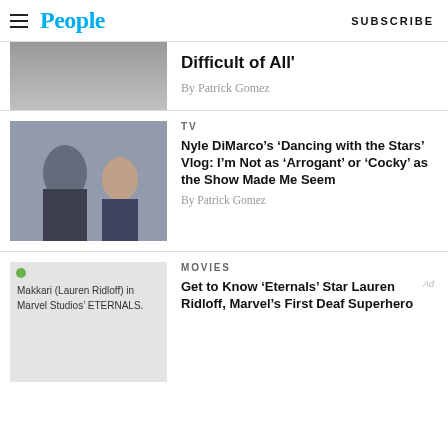People | SUBSCRIBE
Difficult of All'
By Patrick Gomez
TV
Nyle DiMarco’s ‘Dancing with the Stars’ Vlog: I’m Not as ‘Arrogant’ or ‘Cocky’ as the Show Made Me Seem
By Patrick Gomez
MOVIES
Get to Know ‘Eternals’ Star Lauren Ridloff, Marvel’s First Deaf Superhero